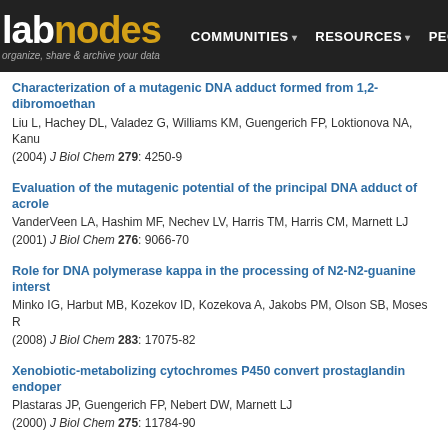labnodes | COMMUNITIES | RESOURCES | PEOPLE
Characterization of a mutagenic DNA adduct formed from 1,2-dibromoethan... Liu L, Hachey DL, Valadez G, Williams KM, Guengerich FP, Loktionova NA, Kanu... (2004) J Biol Chem 279: 4250-9
Evaluation of the mutagenic potential of the principal DNA adduct of acrole... VanderVeen LA, Hashim MF, Nechev LV, Harris TM, Harris CM, Marnett LJ (2001) J Biol Chem 276: 9066-70
Role for DNA polymerase kappa in the processing of N2-N2-guanine interst... Minko IG, Harbut MB, Kozekov ID, Kozekova A, Jakobs PM, Olson SB, Moses R (2008) J Biol Chem 283: 17075-82
Xenobiotic-metabolizing cytochromes P450 convert prostaglandin endoper... Plastaras JP, Guengerich FP, Nebert DW, Marnett LJ (2000) J Biol Chem 275: 11784-90
Malondialdehyde, a product of lipid peroxidation, is mutagenic in human ce... Niedernhofer LJ, Daniels JS, Rouzer CA, Greene RE, Marnett LJ (2003) J Biol Chem 278: 31426-33
Site-specific mutagenesis by a propanodeoxyguanosine adduct carried on... Burcham PC, Marnett LJ (1994) J Biol Chem 269: 28844-50
Well-done meat intake and meat-derived mutagen exposures in relation to b... Fu Z, Deming SL, Fair AM, Shrubsole MJ, Wujcik DM, Shu XO, Kelley M, Zheng